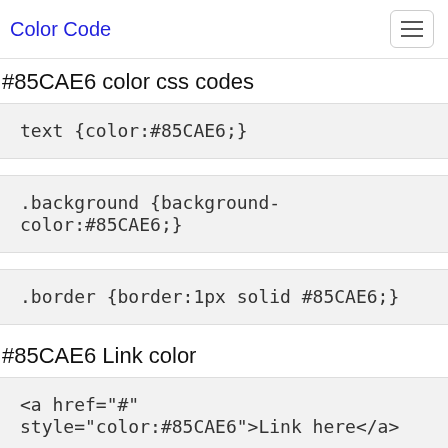Color Code
#85CAE6 color css codes
text {color:#85CAE6;}
.background {background-color:#85CAE6;}
.border {border:1px solid #85CAE6;}
#85CAE6 Link color
<a href="#" style="color:#85CAE6">Link here</a>